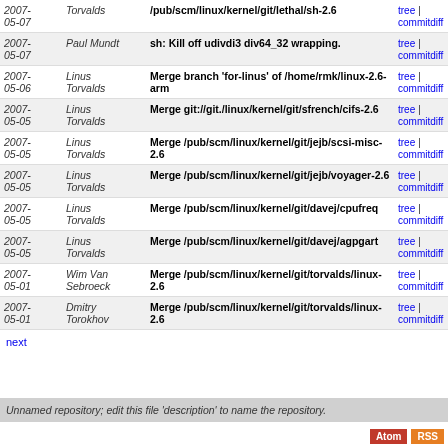| Date | Author | Commit | Links |
| --- | --- | --- | --- |
| 2007-05-07 | Torvalds | /pub/scm/linux/kernel/git/lethal/sh-2.6 | tree | commitdiff |
| 2007-05-07 | Paul Mundt | sh: Kill off udivdi3 div64_32 wrapping. | tree | commitdiff |
| 2007-05-06 | Linus Torvalds | Merge branch 'for-linus' of /home/rmk/linux-2.6-arm | tree | commitdiff |
| 2007-05-05 | Linus Torvalds | Merge git://git./linux/kernel/git/sfrench/cifs-2.6 | tree | commitdiff |
| 2007-05-05 | Linus Torvalds | Merge /pub/scm/linux/kernel/git/jejb/scsi-misc-2.6 | tree | commitdiff |
| 2007-05-05 | Linus Torvalds | Merge /pub/scm/linux/kernel/git/jejb/voyager-2.6 | tree | commitdiff |
| 2007-05-05 | Linus Torvalds | Merge /pub/scm/linux/kernel/git/davej/cpufreq | tree | commitdiff |
| 2007-05-05 | Linus Torvalds | Merge /pub/scm/linux/kernel/git/davej/agpgart | tree | commitdiff |
| 2007-05-01 | Wim Van Sebroeck | Merge /pub/scm/linux/kernel/git/torvalds/linux-2.6 | tree | commitdiff |
| 2007-05-01 | Dmitry Torokhov | Merge /pub/scm/linux/kernel/git/torvalds/linux-2.6 | tree | commitdiff |
next
Unnamed repository; edit this file 'description' to name the repository.